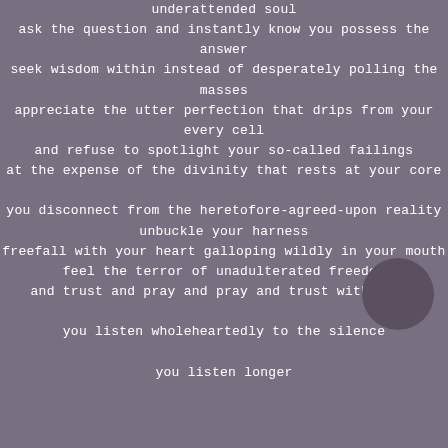underattended soul
ask the question and instantly know you possess the answer
seek wisdom within instead of desperately polling the masses
appreciate the utter perfection that drips from your every cell
and refuse to spotlight your so-called failings
at the expense of the divinity that rests at your core

you disconnect from the heretofore-agreed-upon reality
unbuckle your harness
freefall with your heart galloping wildly in your mouth
feel the terror of unadulterated freedom
and trust and pray and pray and trust without en

you listen wholeheartedly to the silence
you listen longer